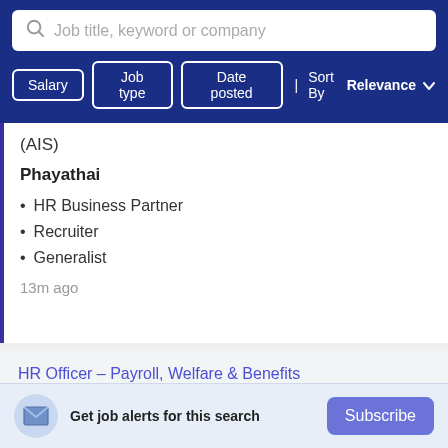[Figure (screenshot): Search bar with placeholder text 'Job title, keyword or company' and a search icon]
Salary | Job type | Date posted | Sort By Relevance
(AIS)
Phayathai
HR Business Partner
Recruiter
Generalist
13m ago
HR Officer – Payroll, Welfare & Benefits
GMM Grammy Public Company Limited
Get job alerts for this search